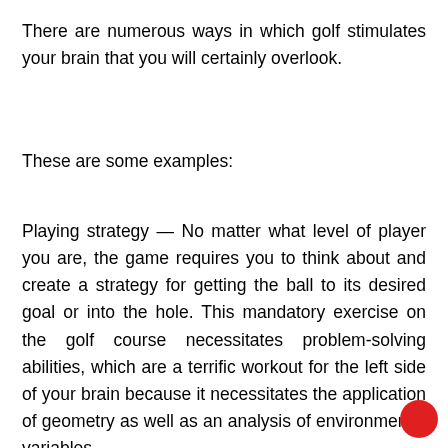There are numerous ways in which golf stimulates your brain that you will certainly overlook.
These are some examples:
Playing strategy — No matter what level of player you are, the game requires you to think about and create a strategy for getting the ball to its desired goal or into the hole. This mandatory exercise on the golf course necessitates problem-solving abilities, which are a terrific workout for the left side of your brain because it necessitates the application of geometry as well as an analysis of environmental variables.